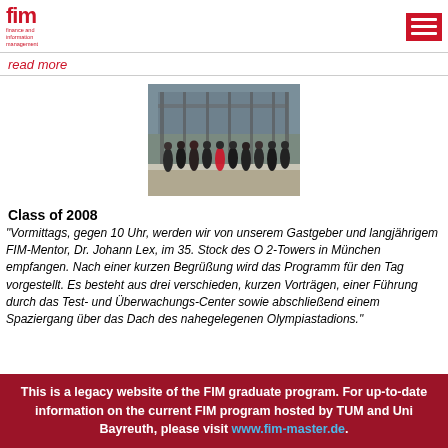fim finance and information management
read more
[Figure (photo): Group photo of students standing outside a building]
Class of 2008
"Vormittags, gegen 10 Uhr, werden wir von unserem Gastgeber und langjährigem FIM-Mentor, Dr. Johann Lex, im 35. Stock des O 2-Towers in München empfangen. Nach einer kurzen Begrüßung wird das Programm für den Tag vorgestellt. Es besteht aus drei verschieden, kurzen Vorträgen, einer Führung durch das Test- und Überwachungs-Center sowie abschließend einem Spaziergang über das Dach des nahegelegenen Olympiastadions."
This is a legacy website of the FIM graduate program. For up-to-date information on the current FIM program hosted by TUM and Uni Bayreuth, please visit www.fim-master.de.